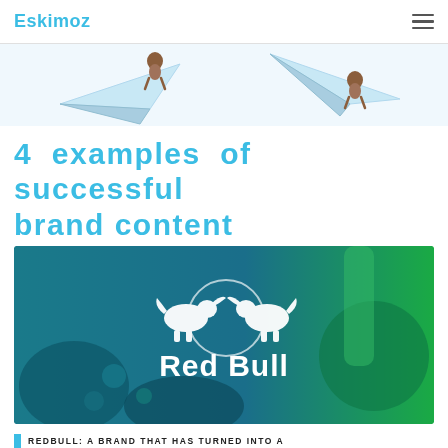Eskimoz
[Figure (illustration): Decorative illustration showing paper airplanes with cartoon animal figures riding them, on a white/light blue background. Partially cropped at the top.]
4 examples of successful brand content
[Figure (photo): Red Bull branded image showing drinks being poured into glasses with ice, overlaid with a blue-green tint. The Red Bull logo (two bulls charging) and the text 'Red Bull' appear centered in white over the image.]
REDBULL: A BRAND THAT HAS TURNED INTO A